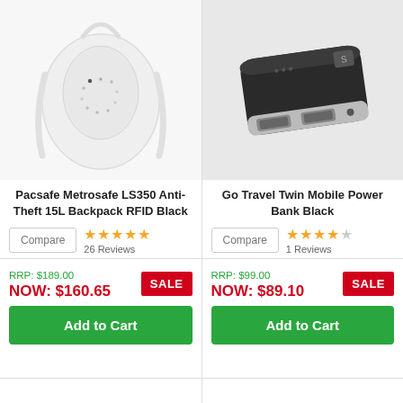[Figure (photo): White backpack product photo - Pacsafe Metrosafe LS350 Anti-Theft 15L Backpack RFID Black]
[Figure (photo): Black portable power bank with two USB ports - Go Travel Twin Mobile Power Bank Black]
Pacsafe Metrosafe LS350 Anti-Theft 15L Backpack RFID Black
Go Travel Twin Mobile Power Bank Black
Compare | ★★★★★ 26 Reviews
Compare | ★★★★☆ 1 Reviews
RRP: $189.00 NOW: $160.65 SALE
RRP: $99.00 NOW: $89.10 SALE
Add to Cart
Add to Cart